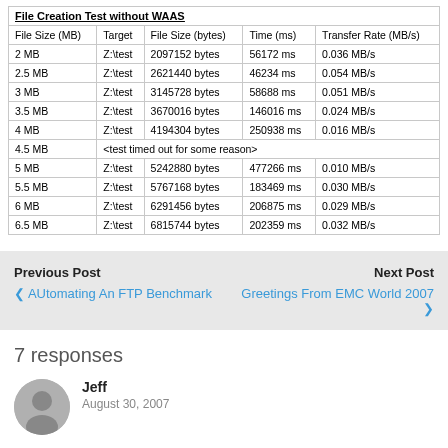| File Size (MB) | Target | File Size (bytes) | Time (ms) | Transfer Rate (MB/s) |
| --- | --- | --- | --- | --- |
| 2 MB | Z:\test | 2097152 bytes | 56172 ms | 0.036 MB/s |
| 2.5 MB | Z:\test | 2621440 bytes | 46234 ms | 0.054 MB/s |
| 3 MB | Z:\test | 3145728 bytes | 58688 ms | 0.051 MB/s |
| 3.5 MB | Z:\test | 3670016 bytes | 146016 ms | 0.024 MB/s |
| 4 MB | Z:\test | 4194304 bytes | 250938 ms | 0.016 MB/s |
| 4.5 MB | <test timed out for some reason> |  |  |  |
| 5 MB | Z:\test | 5242880 bytes | 477266 ms | 0.010 MB/s |
| 5.5 MB | Z:\test | 5767168 bytes | 183469 ms | 0.030 MB/s |
| 6 MB | Z:\test | 6291456 bytes | 206875 ms | 0.029 MB/s |
| 6.5 MB | Z:\test | 6815744 bytes | 202359 ms | 0.032 MB/s |
Previous Post
< AUtomating An FTP Benchmark
Next Post
Greetings From EMC World 2007 >
7 responses
Jeff
August 30, 2007